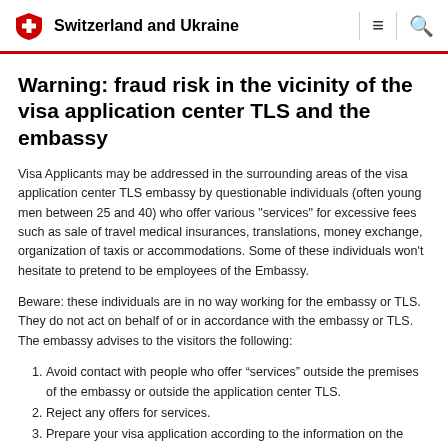Switzerland and Ukraine
Warning: fraud risk in the vicinity of the visa application center TLS and the embassy
Visa Applicants may be addressed in the surrounding areas of the visa application center TLS embassy by questionable individuals (often young men between 25 and 40) who offer various "services" for excessive fees such as sale of travel medical insurances, translations, money exchange, organization of taxis or accommodations. Some of these individuals won’t hesitate to pretend to be employees of the Embassy.
Beware: these individuals are in no way working for the embassy or TLS. They do not act on behalf of or in accordance with the embassy or TLS. The embassy advises to the visitors the following:
Avoid contact with people who offer “services” outside the premises of the embassy or outside the application center TLS.
Reject any offers for services.
Prepare your visa application according to the information on the website of the embassy before you visit the application center of